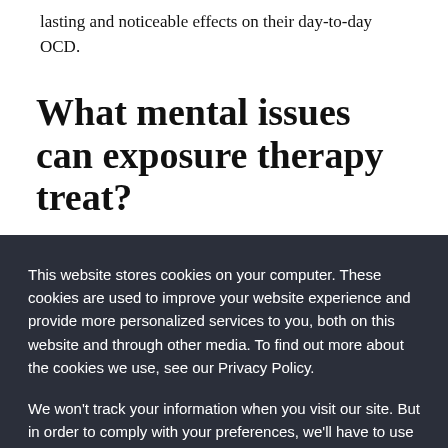lasting and noticeable effects on their day-to-day OCD.
What mental issues can exposure therapy treat?
This website stores cookies on your computer. These cookies are used to improve your website experience and provide more personalized services to you, both on this website and through other media. To find out more about the cookies we use, see our Privacy Policy.
We won't track your information when you visit our site. But in order to comply with your preferences, we'll have to use just one tiny cookie so that you're not asked to make this choice again.